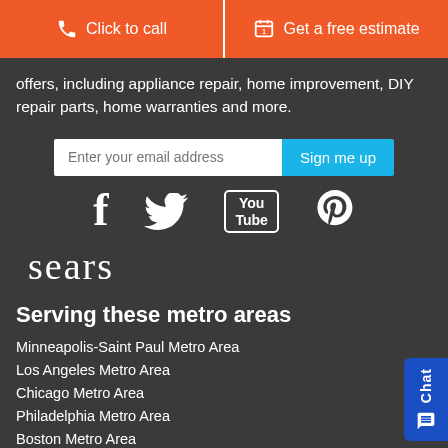[Figure (screenshot): Two orange call-to-action buttons: 'Click to call' and 'Get a free estimate']
offers, including appliance repair, home improvement, DIY repair parts, home warranties and more.
[Figure (screenshot): Email signup field with placeholder 'Enter your email address' and cyan 'Sign me up' button]
[Figure (screenshot): Social media icons: Facebook, Twitter, YouTube, Pinterest]
[Figure (logo): Sears logo in white serif text]
Serving these metro areas
Minneapolis-Saint Paul Metro Area
Los Angeles Metro Area
Chicago Metro Area
Philadelphia Metro Area
Boston Metro Area